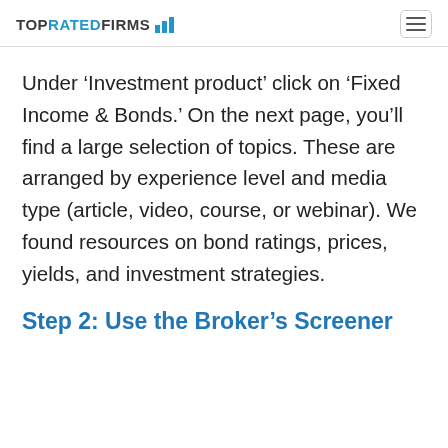TOPRATEDFIRMS
Under ‘Investment product’ click on ‘Fixed Income & Bonds.’ On the next page, you’ll find a large selection of topics. These are arranged by experience level and media type (article, video, course, or webinar). We found resources on bond ratings, prices, yields, and investment strategies.
Step 2: Use the Broker’s Screener